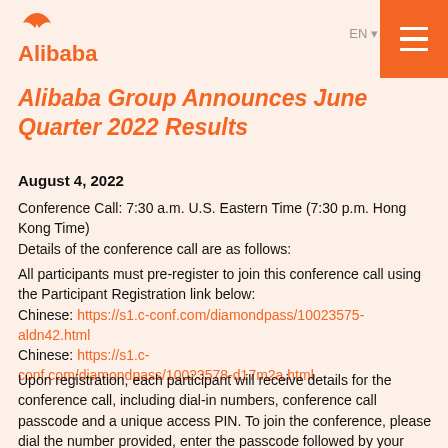Alibaba
Alibaba Group Announces June Quarter 2022 Results
August 4, 2022
Conference Call: 7:30 a.m. U.S. Eastern Time (7:30 p.m. Hong Kong Time)
Details of the conference call are as follows:
All participants must pre-register to join this conference call using the Participant Registration link below:
English: https://s1.c-conf.com/diamondpass/10023575-aldn42.html
Chinese: https://s1.c-conf.com/diamondpass/10023578-d17m2a.html
Upon registration, each participant will receive details for the conference call, including dial-in numbers, conference call passcode and a unique access PIN. To join the conference, please dial the number provided, enter the passcode followed by your PIN, and you will join the